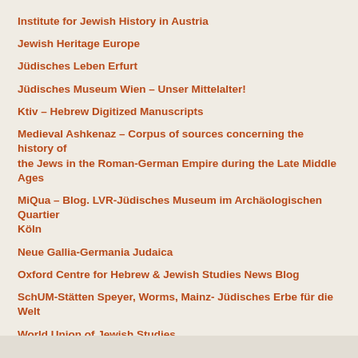Institute for Jewish History in Austria
Jewish Heritage Europe
Jüdisches Leben Erfurt
Jüdisches Museum Wien – Unser Mittelalter!
Ktiv – Hebrew Digitized Manuscripts
Medieval Ashkenaz – Corpus of sources concerning the history of the Jews in the Roman-German Empire during the Late Middle Ages
MiQua – Blog. LVR-Jüdisches Museum im Archäologischen Quartier Köln
Neue Gallia-Germania Judaica
Oxford Centre for Hebrew & Jewish Studies News Blog
SchUM-Stätten Speyer, Worms, Mainz- Jüdisches Erbe für die Welt
World Union of Jewish Studies